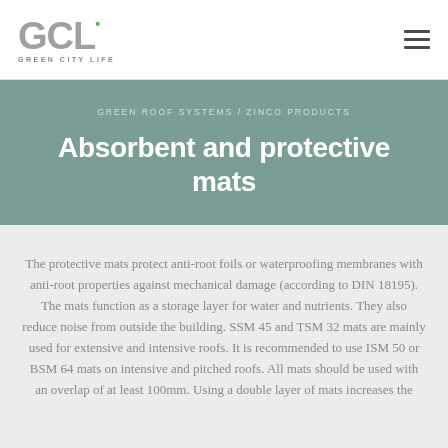GCL Green City Life
GREEN ROOF SYSTEMS / ZINCO PRODUCTS
Absorbent and protective mats
The protective mats protect anti-root foils or waterproofing membranes with anti-root properties against mechanical damage (according to DIN 18195). The mats function as a storage layer for water and nutrients. They also reduce noise from outside the building. SSM 45 and TSM 32 mats are mainly used for extensive and intensive roofs. It is recommended to use ISM 50 or BSM 64 mats on intensive and pitched roofs. All mats should be used with an overlap of at least 100mm. Using a double layer of mats increases the